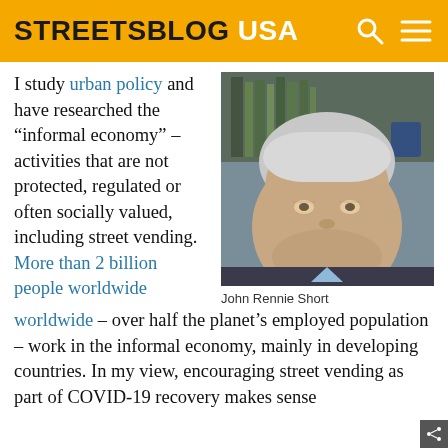STREETSBLOG USA
I study urban policy and have researched the “informal economy” – activities that are not protected, regulated or often socially valued, including street vending. More than 2 billion people worldwide – over half the planet’s employed population – work in the informal economy, mainly in developing countries. In my view, encouraging street vending as part of COVID-19 recovery makes sense
[Figure (photo): Headshot portrait of John Rennie Short, an older man with grey hair wearing a dark blazer and light blue shirt, seated in front of bookshelves]
John Rennie Short